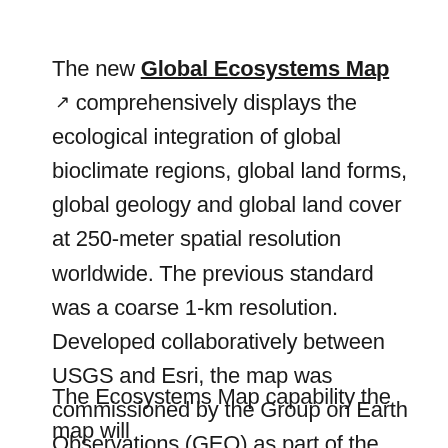The new Global Ecosystems Map comprehensively displays the ecological integration of global bioclimate regions, global land forms, global geology and global land cover at 250-meter spatial resolution worldwide. The previous standard was a coarse 1-km resolution. Developed collaboratively between USGS and Esri, the map was commissioned by the Group on Earth Observations (GEO) as part of the Global Earth Observations Systems of Systems (GEOSS) intergovernmental protocol.
The Ecosystems Map capability the map will